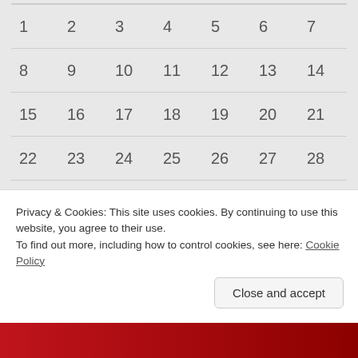| 1 | 2 | 3 | 4 | 5 | 6 | 7 |
| 8 | 9 | 10 | 11 | 12 | 13 | 14 |
| 15 | 16 | 17 | 18 | 19 | 20 | 21 |
| 22 | 23 | 24 | 25 | 26 | 27 | 28 |
| 29 | 30 | 31 |  |  |  |  |
« Feb  Apr »
dtf online
Privacy & Cookies: This site uses cookies. By continuing to use this website, you agree to their use.
To find out more, including how to control cookies, see here: Cookie Policy
Close and accept